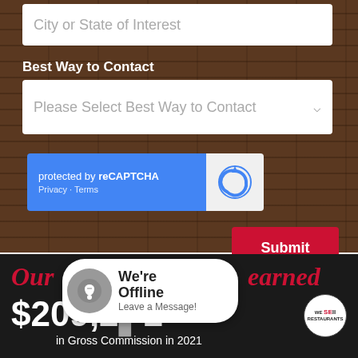City or State of Interest
Best Way to Contact
Please Select Best Way to Contact
protected by reCAPTCHA  Privacy · Terms
Submit
[Figure (screenshot): Bottom banner section of a restaurant brokerage website. Shows partial red italic text 'Our' and 'earned', large white dollar amount '$209,292', caption 'in Gross Commission in 2021', a 'We Sell Restaurants' circular logo, and an offline chat widget showing 'We're Offline Leave a Message!']